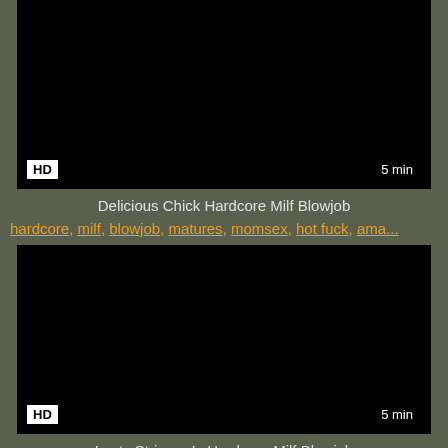[Figure (screenshot): Black video thumbnail with HD badge bottom-left and 5 min badge bottom-right]
Delicious Chick Hardcore Milf Blowjob
hardcore, milf, blowjob, matures, momsex, hot fuck, ama...
[Figure (screenshot): Black video thumbnail with HD badge bottom-left and 5 min badge bottom-right]
Lusty Stripper Is Hardcore Milf Blowjob